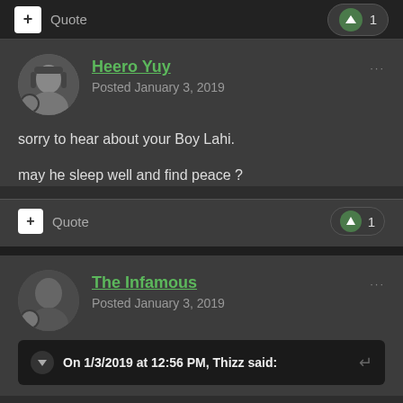Quote  ↑ 1
Heero Yuy
Posted January 3, 2019
sorry to hear about your Boy Lahi.

may he sleep well and find peace ?
Quote  ↑ 1
The Infamous
Posted January 3, 2019
On 1/3/2019 at 12:56 PM, Thizz said: